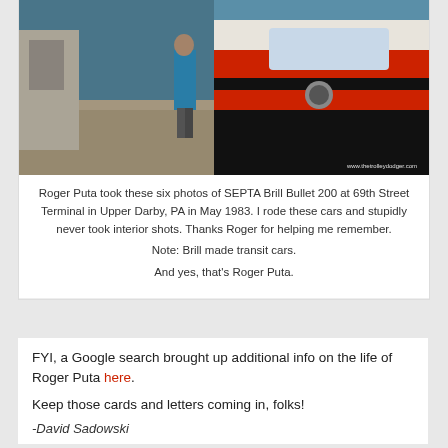[Figure (photo): Photo of a person standing next to a red and black SEPTA Brill Bullet 200 streetcar at 69th Street Terminal platform. Watermark reads www.thetrolleydodger.com]
Roger Puta took these six photos of SEPTA Brill Bullet 200 at 69th Street Terminal in Upper Darby, PA in May 1983. I rode these cars and stupidly never took interior shots. Thanks Roger for helping me remember.
Note: Brill made transit cars.
And yes, that's Roger Puta.
FYI, a Google search brought up additional info on the life of Roger Puta here.
Keep those cards and letters coming in, folks!
-David Sadowski